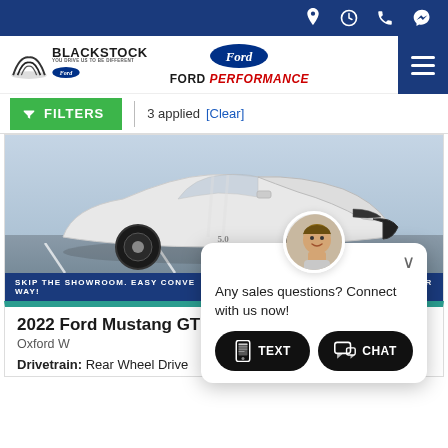Blackstock Ford - Ford Performance dealer website header with navigation icons
[Figure (logo): Blackstock Ford logo with Ford oval and Ford Performance branding]
FILTERS | 3 applied [Clear]
[Figure (photo): 2022 Ford Mustang GT convertible in Oxford White parked in a lot, with a chat popup overlay showing TEXT and CHAT buttons]
Any sales questions? Connect with us now!
2022 Fo...
Oxford W...
Drivetrain: Rear Wheel Drive